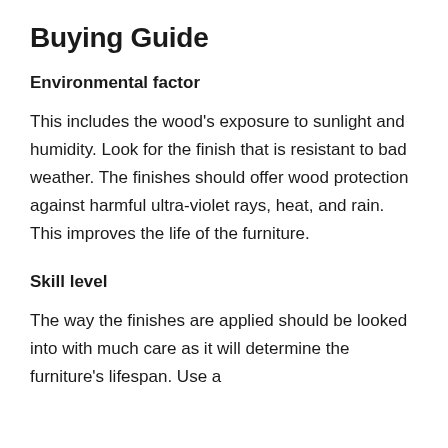Buying Guide
Environmental factor
This includes the wood's exposure to sunlight and humidity. Look for the finish that is resistant to bad weather. The finishes should offer wood protection against harmful ultra-violet rays, heat, and rain. This improves the life of the furniture.
Skill level
The way the finishes are applied should be looked into with much care as it will determine the furniture's lifespan. Use a